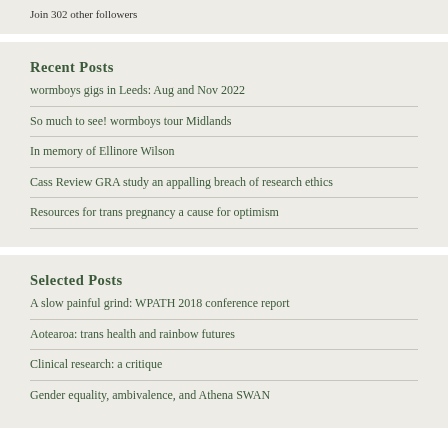Join 302 other followers
Recent Posts
wormboys gigs in Leeds: Aug and Nov 2022
So much to see! wormboys tour Midlands
In memory of Ellinore Wilson
Cass Review GRA study an appalling breach of research ethics
Resources for trans pregnancy a cause for optimism
Selected Posts
A slow painful grind: WPATH 2018 conference report
Aotearoa: trans health and rainbow futures
Clinical research: a critique
Gender equality, ambivalence, and Athena SWAN